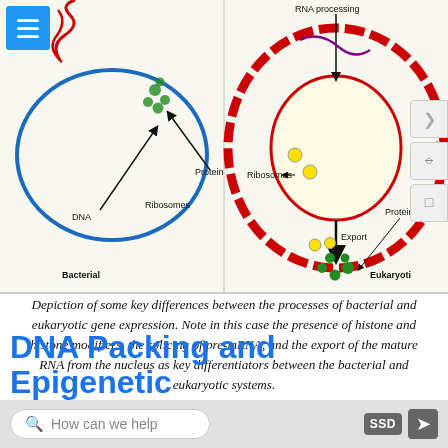[Figure (illustration): Diagram comparing bacterial and eukaryotic gene expression. Left side (Bacterial): shows DNA, ribosomes, and protein labels within a simple cell outline. Right side (Eukaryotic): shows ribosomes, export, nuclear pore, and protein labels with RNA processing indicated, inside a nucleus outline.]
Depiction of some key differences between the processes of bacterial and eukaryotic gene expression. Note in this case the presence of histone and histone modifiers, the splicing of pre-mRNA, and the export of the mature RNA from the nucleus as key differentiators between the bacterial and eukaryotic systems. Attribution: Marc T. Facciotti (own work)
DNA Packing and Epigenetic